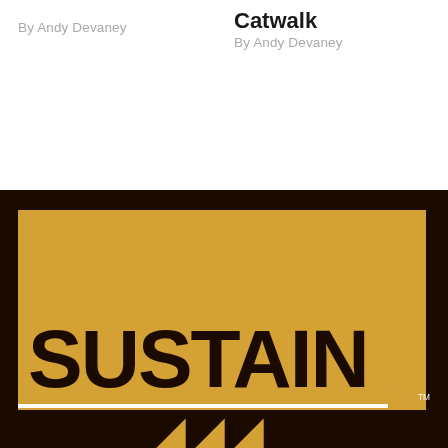By Andy Devaney
Catwalk
By Andy Devaney
[Figure (logo): SUSTAIN brand logo on a golden/amber yellow background with dark brown text reading SUSTAIN, a white horizontal line, chevron arrows, and partial letters below. The logo sits within a dark brown/black border.]